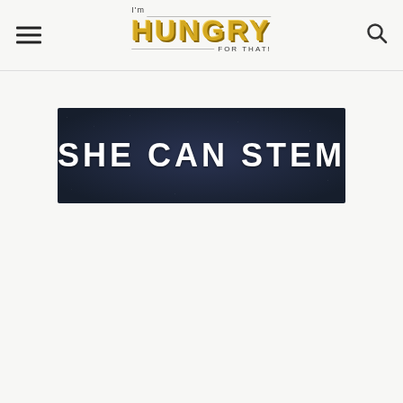I'm HUNGRY FOR THAT! — navigation header with hamburger menu and search icon
[Figure (logo): I'm Hungry For That! logo with golden bold text and chef hat illustration]
[Figure (illustration): Dark navy banner with bold white text reading SHE CAN STEM]